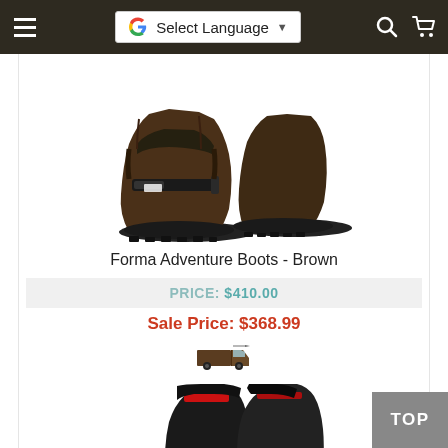Navigation bar with hamburger menu, Google Translate language selector, search icon, and cart icon
[Figure (photo): Forma Adventure Boots in brown color, pair of motorcycle boots shown from the side]
Forma Adventure Boots - Brown
PRICE: $410.00
Sale Price: $368.99
[Figure (illustration): Free shipping icon - small truck illustration]
[Figure (photo): Forma motorcycle boots in black, tall motocross style boots shown as a pair]